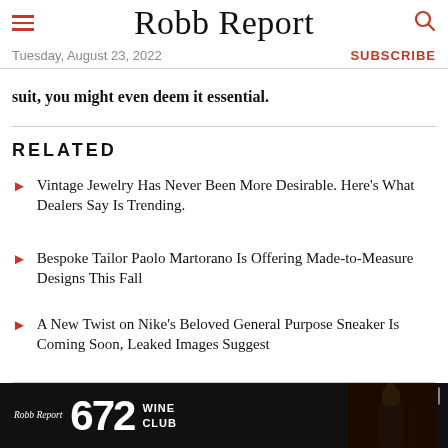Robb Report | Tuesday, August 23, 2022 | SUBSCRIBE
suit, you might even deem it essential.
RELATED
Vintage Jewelry Has Never Been More Desirable. Here's What Dealers Say Is Trending.
Bespoke Tailor Paolo Martorano Is Offering Made-to-Measure Designs This Fall
A New Twist on Nike's Beloved General Purpose Sneaker Is Coming Soon, Leaked Images Suggest
READ MORE    MENSWEAR
[Figure (other): Robb Report 672 Wine Club advertisement banner with wine bottle image]